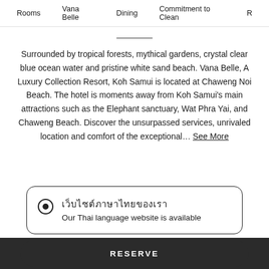Rooms   Vana Belle   Dining   Commitment to Clean   R
Surrounded by tropical forests, mythical gardens, crystal clear blue ocean water and pristine white sand beach. Vana Belle, A Luxury Collection Resort, Koh Samui is located at Chaweng Noi Beach. The hotel is moments away from Koh Samui's main attractions such as the Elephant sanctuary, Wat Phra Yai, and Chaweng Beach. Discover the unsurpassed services, unrivaled location and comfort of the exceptional... See More
เว็บไซต์ภาษาไทยของเรามีให้บริการ
Our Thai language website is available